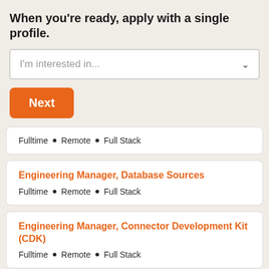When you're ready, apply with a single profile.
I'm interested in...
Next
Fulltime • Remote • Full Stack
Engineering Manager, Database Sources
Fulltime • Remote • Full Stack
Engineering Manager, Connector Development Kit (CDK)
Fulltime • Remote • Full Stack
Engineering Manager
Fulltime • Remote • Full Stack